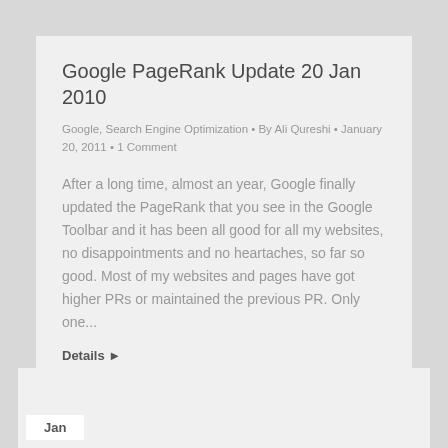Google PageRank Update 20 Jan 2010
Google, Search Engine Optimization • By Ali Qureshi • January 20, 2011 • 1 Comment
After a long time, almost an year, Google finally updated the PageRank that you see in the Google Toolbar and it has been all good for all my websites, no disappointments and no heartaches, so far so good. Most of my websites and pages have got higher PRs or maintained the previous PR. Only one...
Details ▶